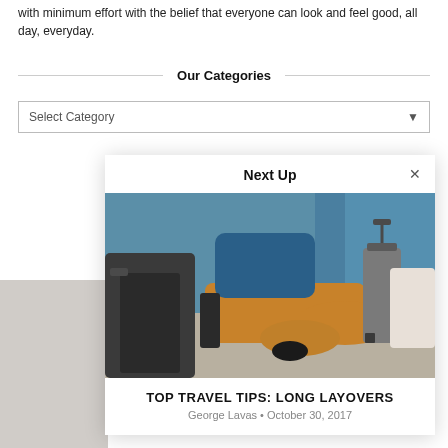with minimum effort with the belief that everyone can look and feel good, all day, everyday.
Our Categories
Select Category
Next Up
[Figure (photo): Person in blue shirt and orange pants sitting in airport lounge chair with luggage in background]
TOP TRAVEL TIPS: LONG LAYOVERS
George Lavas • October 30, 2017